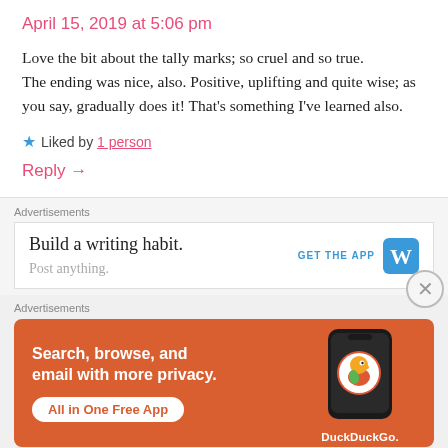April 15, 2019 at 5:06 pm
Love the bit about the tally marks; so cruel and so true.
The ending was nice, also. Positive, uplifting and quite wise; as you say, gradually does it! That’s something I’ve learned also.
★ Liked by 1 person
Reply →
Advertisements
[Figure (infographic): WordPress app advertisement: Build a writing habit. GET THE APP with WordPress logo icon.]
Advertisements
[Figure (infographic): DuckDuckGo advertisement on orange background: Search, browse, and email with more privacy. All in One Free App. Shows phone with DuckDuckGo logo.]